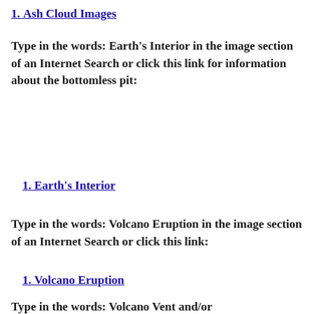1. Ash Cloud Images
Type in the words: Earth’s Interior in the image section of an Internet Search or click this link for information about the bottomless pit:
1. Earth’s Interior
Type in the words: Volcano Eruption in the image section of an Internet Search or click this link:
1. Volcano Eruption
Type in the words: Volcano Vent and/or